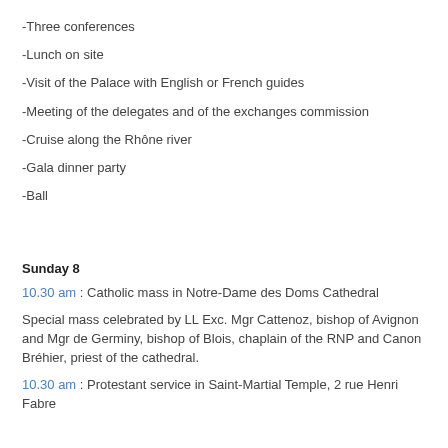-Three conferences
-Lunch on site
-Visit of the Palace with English or French guides
-Meeting of the delegates and of the exchanges commission
-Cruise along the Rhône river
-Gala dinner party
-Ball
Sunday 8
10.30 am : Catholic mass in Notre-Dame des Doms Cathedral
Special mass celebrated by LL Exc. Mgr Cattenoz, bishop of Avignon and Mgr de Germiny, bishop of Blois, chaplain of the RNP and Canon Bréhier, priest of the cathedral.
10.30 am : Protestant service in Saint-Martial Temple, 2 rue Henri Fabre